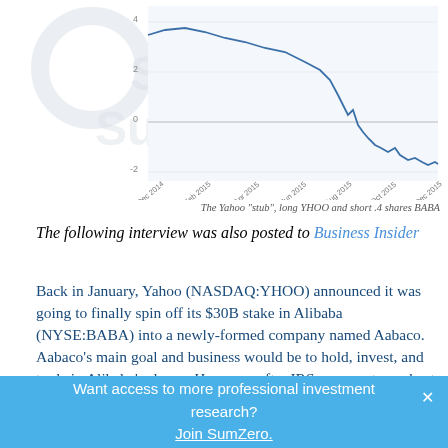[Figure (continuous-plot): Line chart showing the Yahoo 'stub' value (long YHOO and short 0.4 shares BABA) from Dec 2014 to Dec 2015. The line starts around 4, stays elevated through mid-2015, then drops sharply toward -2 around Dec 2015.]
The Yahoo "stub", long YHOO and short .4 shares BABA
The following interview was also posted to Business Insider
Back in January, Yahoo (NASDAQ:YHOO) announced it was going to finally spin off its $30B stake in Alibaba (NYSE:BABA) into a newly-formed company named Aabaco.
Aabaco's main goal and business would be to hold, invest, and trade in Alibaba's shares. However, after IRS comments made at a Washington DC bar association in May, market participants became concerned that that Yahoo spin-off might not satisfy the IRS's requirements for a tax-free spin-off. To clear these
Want access to more professional investment research? Join SumZero.